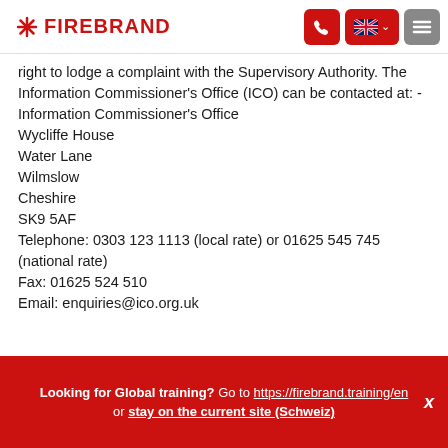FIREBRAND [navigation header with phone, flag, and menu buttons]
right to lodge a complaint with the Supervisory Authority. The Information Commissioner's Office (ICO) can be contacted at: - Information Commissioner's Office Wycliffe House Water Lane Wilmslow Cheshire SK9 5AF Telephone: 0303 123 1113 (local rate) or 01625 545 745 (national rate) Fax: 01625 524 510 Email: enquiries@ico.org.uk
Looking for Global training? Go to https://firebrand.training/en or stay on the current site (Schweiz) X